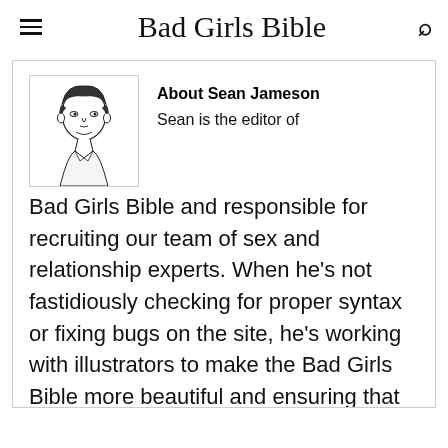Bad Girls Bible
[Figure (illustration): Line drawing portrait of a man (Sean Jameson) in black and white, wearing a collared shirt]
About Sean Jameson
Sean is the editor of Bad Girls Bible and responsible for recruiting our team of sex and relationship experts. When he's not fastidiously checking for proper syntax or fixing bugs on the site, he's working with illustrators to make the Bad Girls Bible more beautiful and ensuring that our